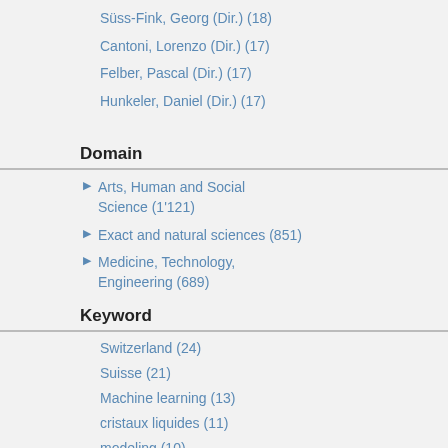Süss-Fink, Georg (Dir.) (18)
Cantoni, Lorenzo (Dir.) (17)
Felber, Pascal (Dir.) (17)
Hunkeler, Daniel (Dir.) (17)
More
Domain
Arts, Human and Social Science (1'121)
Exact and natural sciences (851)
Medicine, Technology, Engineering (689)
Keyword
Switzerland (24)
Suisse (21)
Machine learning (13)
cristaux liquides (11)
modeling (10)
organisation supramoléculaire (10)
cooperation (9)
liquid crystals (9)
Deep learning (8)
[Figure (other): Thumbnail of a PhD thesis document (white page with text/lines)]
PhD thesis
Learn comp
Verzel
Thèse
Dynam science mather pheno system
[Figure (other): Document icon with clock and lock indicating restricted access]
Public access from Jan 21, 2024
Teach
De Co
Thèse
In 199 profess singula period 19...
[Figure (other): Small scatter/graph icon for PhD thesis]
PhD thesis
Grap
Gratta
Thèse